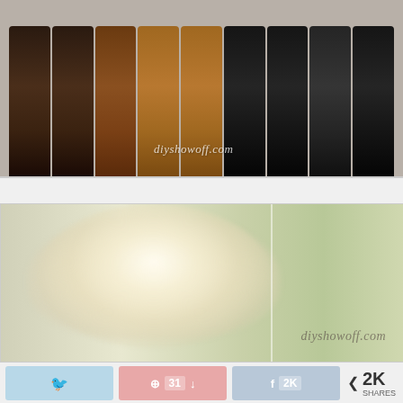[Figure (photo): Closet with multiple pairs of boots (dark brown, brown, tan, and black) hanging upside down on a rod. Watermark reads 'diyshowoff.com' at the bottom.]
[Figure (photo): Blurry soft-focus image of a decorative chandelier made of flowers or shells, hanging against a light green wall. Watermark reads 'diyshowoff.com' in the lower right.]
31  2K  2K SHARES